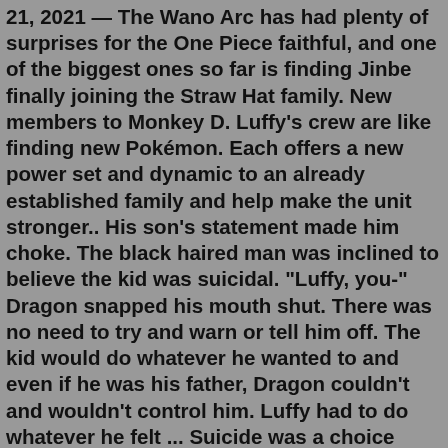21, 2021 — The Wano Arc has had plenty of surprises for the One Piece faithful, and one of the biggest ones so far is finding Jinbe finally joining the Straw Hat family. New members to Monkey D. Luffy's crew are like finding new Pokémon. Each offers a new power set and dynamic to an already established family and help make the unit stronger.. His son's statement made him choke. The black haired man was inclined to believe the kid was suicidal. "Luffy, you-" Dragon snapped his mouth shut. There was no need to try and warn or tell him off. The kid would do whatever he wanted to and even if he was his father, Dragon couldn't and wouldn't control him. Luffy had to do whatever he felt ... Suicide was a choice done purely by the one who committed it, so in a way, perhaps it was selfish—the aftermath needed to be as selfless as possible. She was just tired. She pulled the door open, planning out the color schemes to use for Luffy's addition to the Modern AU she'd been asked to draw. Luffy has spent a lot of his lifespan over various fights. So, as unreal as it may seem at first, Luffy will